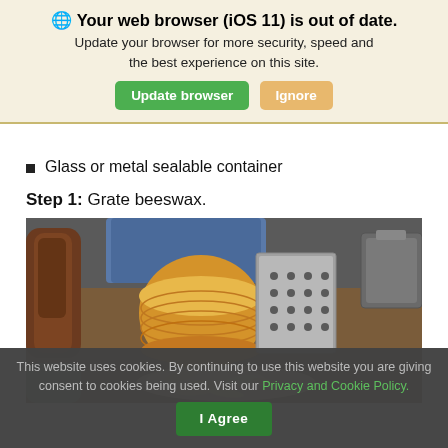🌐 Your web browser (iOS 11) is out of date. Update your browser for more security, speed and the best experience on this site. [Update browser] [Ignore]
Glass or metal sealable container
Step 1: Grate beeswax.
[Figure (photo): Photo showing a block of beeswax next to a metal grater with grated beeswax shavings on a wooden board, alongside glass jars and a metal tin]
This website uses cookies. By continuing to use this website you are giving consent to cookies being used. Visit our Privacy and Cookie Policy. [I Agree]